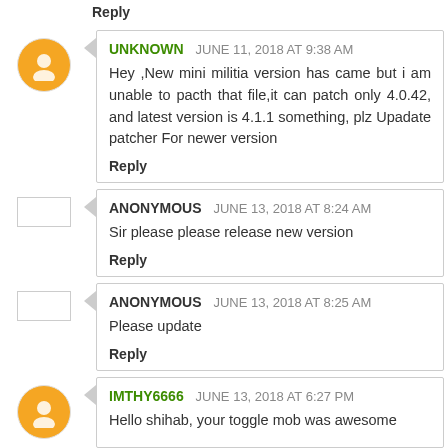Reply
UNKNOWN  JUNE 11, 2018 AT 9:38 AM
Hey ,New mini militia version has came but i am unable to pacth that file,it can patch only 4.0.42, and latest version is 4.1.1 something, plz Upadate patcher For newer version
Reply
ANONYMOUS  JUNE 13, 2018 AT 8:24 AM
Sir please please release new version
Reply
ANONYMOUS  JUNE 13, 2018 AT 8:25 AM
Please update
Reply
IMTHY6666  JUNE 13, 2018 AT 6:27 PM
Hello shihab, your toggle mob was awesome